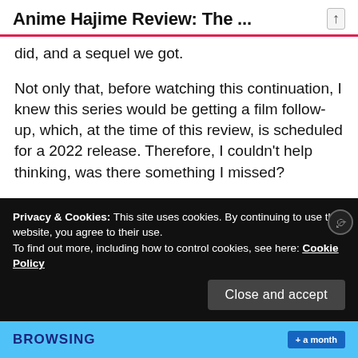Anime Hajime Review: The ...
did, and a sequel we got.
Not only that, before watching this continuation, I knew this series would be getting a film follow-up, which, at the time of this review, is scheduled for a 2022 release. Therefore, I couldn't help thinking, was there something I missed?
Privacy & Cookies: This site uses cookies. By continuing to use this website, you agree to their use.
To find out more, including how to control cookies, see here: Cookie Policy
Close and accept